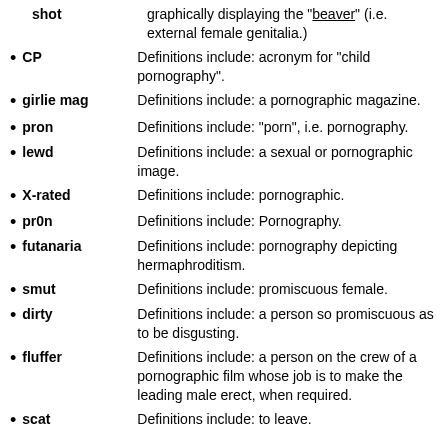shot — graphically displaying the "beaver" (i.e. external female genitalia.)
CP — Definitions include: acronym for "child pornography".
girlie mag — Definitions include: a pornographic magazine.
pron — Definitions include: "porn", i.e. pornography.
lewd — Definitions include: a sexual or pornographic image.
X-rated — Definitions include: pornographic.
pr0n — Definitions include: Pornography.
futanaria — Definitions include: pornography depicting hermaphroditism.
smut — Definitions include: promiscuous female.
dirty — Definitions include: a person so promiscuous as to be disgusting.
fluffer — Definitions include: a person on the crew of a pornographic film whose job is to make the leading male erect, when required.
scat — Definitions include: to leave.